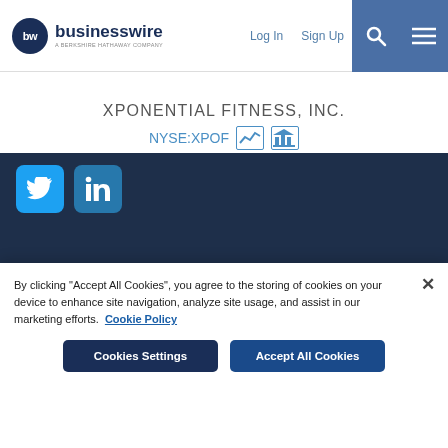businesswire — A BERKSHIRE HATHAWAY COMPANY | Log In | Sign Up
XPONENTIAL FITNESS, INC.
NYSE:XPOF
More News
By clicking "Accept All Cookies", you agree to the storing of cookies on your device to enhance site navigation, analyze site usage, and assist in our marketing efforts. Cookie Policy
Cookies Settings | Accept All Cookies